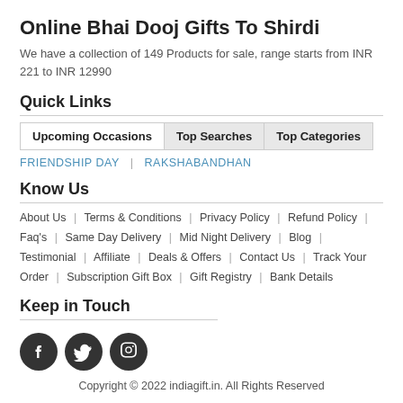Online Bhai Dooj Gifts To Shirdi
We have a collection of 149 Products for sale, range starts from INR 221 to INR 12990
Quick Links
| Upcoming Occasions | Top Searches | Top Categories |
| --- | --- | --- |
FRIENDSHIP DAY | RAKSHABANDHAN
Know Us
About Us | Terms & Conditions | Privacy Policy | Refund Policy | Faq's | Same Day Delivery | Mid Night Delivery | Blog | Testimonial | Affiliate | Deals & Offers | Contact Us | Track Your Order | Subscription Gift Box | Gift Registry | Bank Details
Keep in Touch
[Figure (other): Social media icons: Facebook, Twitter, Instagram]
Copyright © 2022 indiagift.in. All Rights Reserved